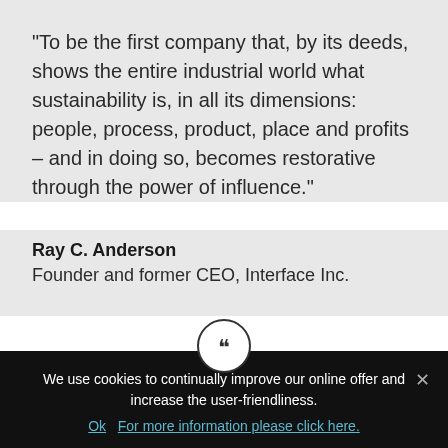“To be the first company that, by its deeds, shows the entire industrial world what sustainability is, in all its dimensions: people, process, product, place and profits – and in doing so, becomes restorative through the power of influence.”
Ray C. Anderson
Founder and former CEO, Interface Inc.
[Figure (illustration): Closing double-quotation mark icon in a circle]
“The Natural Step has helped us take
We use cookies to continually improve our online offer and increase the user-friendliness.
Ok  For more information please click here.